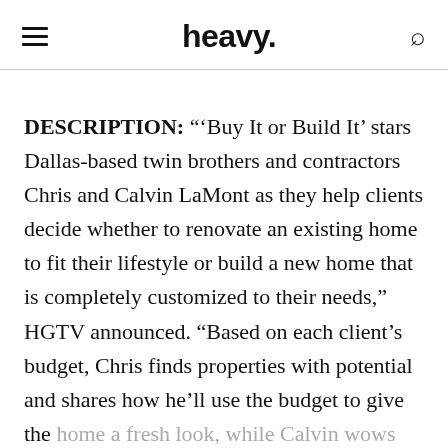heavy.
DESCRIPTION: “‘Buy It or Build It’ stars Dallas-based twin brothers and contractors Chris and Calvin LaMont as they help clients decide whether to renovate an existing home to fit their lifestyle or build a new home that is completely customized to their needs,” HGTV announced. “Based on each client’s budget, Chris finds properties with potential and shares how he’ll use the budget to give the home a fresh look, while Calvin wows them with